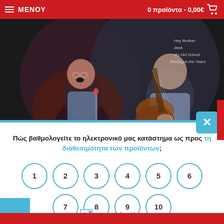ΜΕΝΟΥ   0 προϊόντα - 0,00€
[Figure (photo): Two musicians performing on stage — one singing at a microphone, another playing an electric guitar, in a dark, red-lit setting. A partial tracklist is visible in the upper right.]
Πώς βαθμολογείτε το ηλεκτρονικό μας κατάστημα ως προς τη διαθεσιμότητα των προϊόντων;
1
2
3
4
5
6
7
8
9
10
e-satisfaction